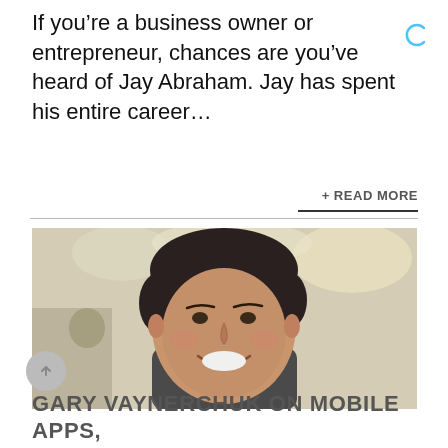If you’re a business owner or entrepreneur, chances are you’ve heard of Jay Abraham. Jay has spent his entire career…
+ READ MORE
[Figure (photo): Smiling man with short dark hair wearing a dark shirt, photographed indoors in what appears to be an office or restaurant setting with blurred background.]
GARY VAYNERCHUK ON MOBILE APPS,